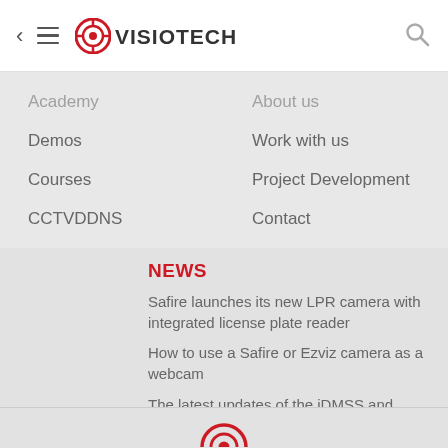[Figure (logo): Visiotech logo with red target/circle icon and VISIOTECH text in dark gray]
Academy
Demos
Courses
CCTVDDNS
About us
Work with us
Project Development
Contact
NEWS
Safire launches its new LPR camera with integrated license plate reader
How to use a Safire or Ezviz camera as a webcam
The latest updates of the iDMSS and gDMSS Plus app